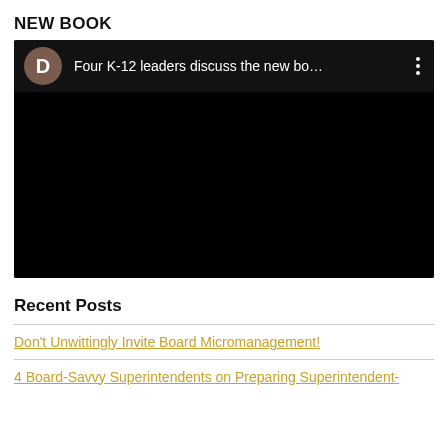NEW BOOK
[Figure (screenshot): Embedded video player with dark background. Top bar shows a brown circular avatar with letter D, title text 'Four K-12 leaders discuss the new bo...' and a three-dot menu icon. Main area is black (video content area).]
Recent Posts
Don't Unwittingly Invite Board Micromanagement!
4 Board-Savvy Superintendents on Preparing Superintendent-